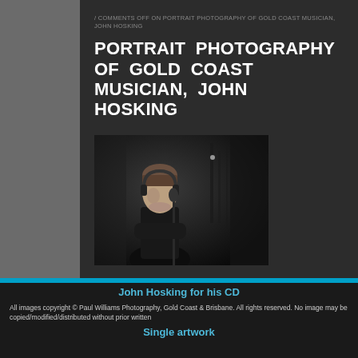/ COMMENTS OFF ON PORTRAIT PHOTOGRAPHY OF GOLD COAST MUSICIAN, JOHN HOSKING
PORTRAIT PHOTOGRAPHY OF GOLD COAST MUSICIAN, JOHN HOSKING
[Figure (photo): Black and white portrait photograph of John Hosking, a young man wearing headphones and a dark shirt, photographed in what appears to be a recording studio]
Last week I photographed Gold Coast singer/songwriter, John Hosking for his CD Single artwork
All images copyright © Paul Williams Photography, Gold Coast & Brisbane. All rights reserved. No image may be copied/modified/distributed without prior written